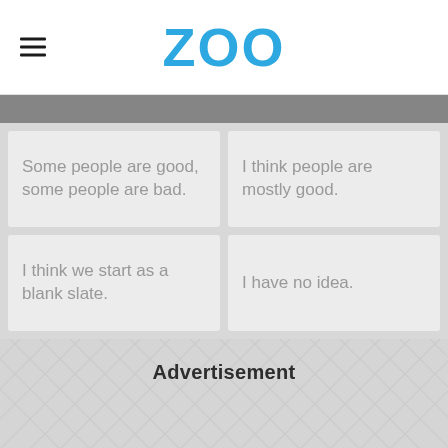ZOO
Some people are good, some people are bad.
I think people are mostly good.
I think we start as a blank slate.
I have no idea.
Advertisement